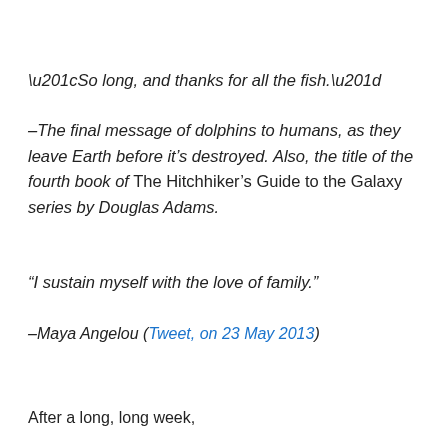“So long, and thanks for all the fish.”
–The final message of dolphins to humans, as they leave Earth before it’s destroyed. Also, the title of the fourth book of The Hitchhiker’s Guide to the Galaxy series by Douglas Adams.
“I sustain myself with the love of family.”
–Maya Angelou (Tweet, on 23 May 2013)
After a long, long week,